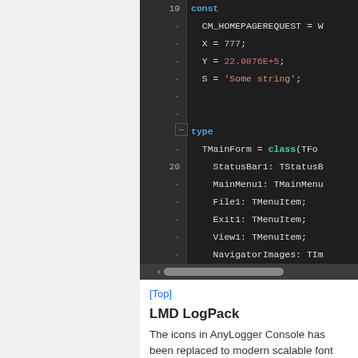[Figure (screenshot): Code editor screenshot showing Pascal/Delphi source code with syntax highlighting. Lines 10-26 visible. Shows 'const' block with CM_HOMEPAGEREQUEST, X=777, Y=22.0876E+5, S='Some string', and 'type' block with TMainForm class declaration including StatusBar1, MainMenu1, File1, Exit1, View1, NavigatorImages, NavigatorHotImages fields.]
[Top]
LMD LogPack
The icons in AnyLogger Console has been replaced to modern scalable font icons.